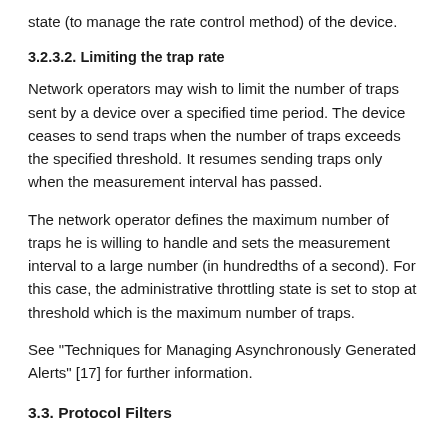state (to manage the rate control method) of the device.
3.2.3.2. Limiting the trap rate
Network operators may wish to limit the number of traps sent by a device over a specified time period. The device ceases to send traps when the number of traps exceeds the specified threshold. It resumes sending traps only when the measurement interval has passed.
The network operator defines the maximum number of traps he is willing to handle and sets the measurement interval to a large number (in hundredths of a second). For this case, the administrative throttling state is set to stop at threshold which is the maximum number of traps.
See "Techniques for Managing Asynchronously Generated Alerts" [17] for further information.
3.3. Protocol Filters